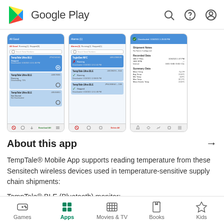Google Play
[Figure (screenshot): Three screenshots of TempTale Mobile App showing device lists and detail view]
About this app →
TempTale® Mobile App supports reading temperature from these Sensitech wireless devices used in temperature-sensitive supply chain shipments:
TempTale® BLE (Bluetooth) monitor:
Games | Apps | Movies & TV | Books | Kids